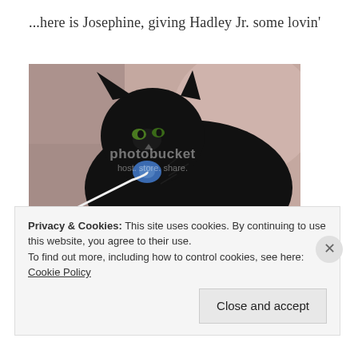...here is Josephine, giving Hadley Jr. some lovin'
[Figure (photo): A black cat (Josephine) lying on a pink/mauve blanket next to what appears to be a laptop or device, with a blue item near its mouth. Photo has a Photobucket watermark overlay reading 'photobucket host. store. share.']
Privacy & Cookies: This site uses cookies. By continuing to use this website, you agree to their use.
To find out more, including how to control cookies, see here: Cookie Policy
Close and accept